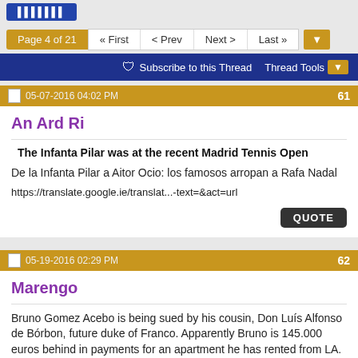Page 4 of 21  « First  < Prev  Next >  Last »
Subscribe to this Thread  Thread Tools
05-07-2016 04:02 PM  61
An Ard Ri
The Infanta Pilar was at the recent Madrid Tennis Open
De la Infanta Pilar a Aitor Ocio: los famosos arropan a Rafa Nadal
https://translate.google.ie/translat...-text=&act=url
05-19-2016 02:29 PM  62
Marengo
Bruno Gomez Acebo is being sued by his cousin, Don Luís Alfonso de Bórbon, future duke of Franco. Apparently Bruno is 145.000 euros behind in payments for an apartment he has rented from LA.
Luis Alfonso de Borbón demanda a Bruno Gómez-Acebo por impago